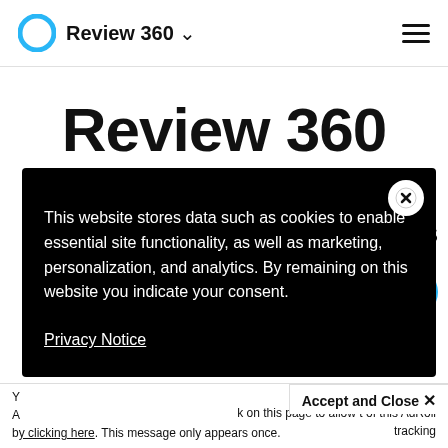Review 360
Review 360
olders
[Figure (screenshot): Cookie consent popup overlay with black background. Text reads: 'This website stores data such as cookies to enable essential site functionality, as well as marketing, personalization, and analytics. By remaining on this website you indicate your consent.' A close button (X in circle) appears at top right. A 'Privacy Notice' underlined link at bottom.]
Privacy Notice
Accept and Close ✕
Y
A
b... k on this page to allow t of this AdRoll tracking